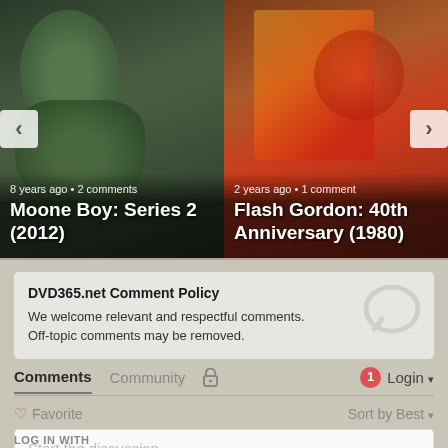[Figure (screenshot): Left carousel card: movie thumbnail for Moone Boy: Series 2 (2012) with overlay text '8 years ago • 2 comments' and bold title. Navigation arrow on left.]
[Figure (screenshot): Right carousel card: movie thumbnail for Flash Gordon: 40th Anniversary (1980) with overlay text '2 years ago • 1 comment' and bold title. Navigation arrow on right.]
DVD365.net Comment Policy
We welcome relevant and respectful comments. Off-topic comments may be removed.
Comments
Community
1
Login
Favorite
Sort by Best
Start the discussion...
LOG IN WITH